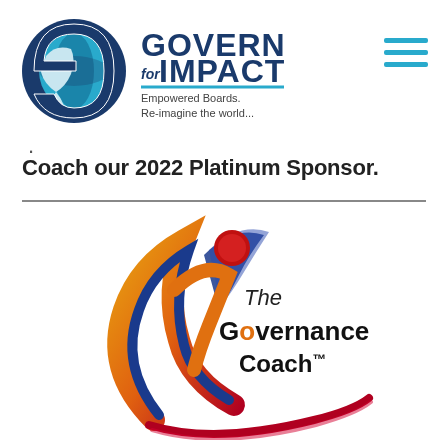[Figure (logo): Govern for Impact logo with globe icon and tagline 'Empowered Boards. Re-imagine the world...']
[Figure (logo): Hamburger menu icon (three horizontal teal lines)]
.
Coach our 2022 Platinum Sponsor.
[Figure (logo): The Governance Coach™ logo with colorful swoosh figure and text]